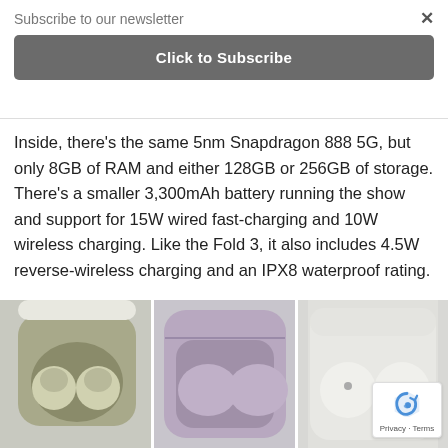Subscribe to our newsletter
Click to Subscribe
Inside, there’s the same 5nm Snapdragon 888 5G, but only 8GB of RAM and either 128GB or 256GB of storage. There’s a smaller 3,300mAh battery running the show and support for 15W wired fast-charging and 10W wireless charging. Like the Fold 3, it also includes 4.5W reverse-wireless charging and an IPX8 waterproof rating.
[Figure (photo): Three wireless earbuds in their charging cases side by side: olive/green color, lavender/purple color, and white color.]